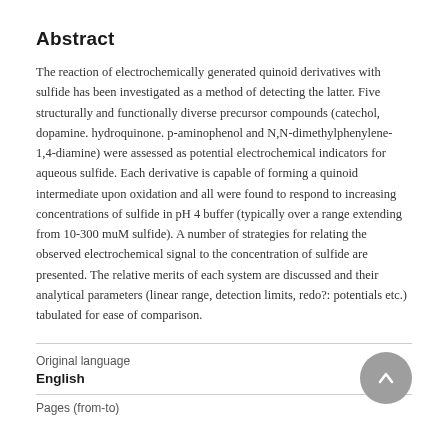Abstract
The reaction of electrochemically generated quinoid derivatives with sulfide has been investigated as a method of detecting the latter. Five structurally and functionally diverse precursor compounds (catechol, dopamine. hydroquinone. p-aminophenol and N,N-dimethylphenylene-1,4-diamine) were assessed as potential electrochemical indicators for aqueous sulfide. Each derivative is capable of forming a quinoid intermediate upon oxidation and all were found to respond to increasing concentrations of sulfide in pH 4 buffer (typically over a range extending from 10-300 muM sulfide). A number of strategies for relating the observed electrochemical signal to the concentration of sulfide are presented. The relative merits of each system are discussed and their analytical parameters (linear range, detection limits, redo?: potentials etc.) tabulated for ease of comparison.
Original language
English
Pages (from-to)